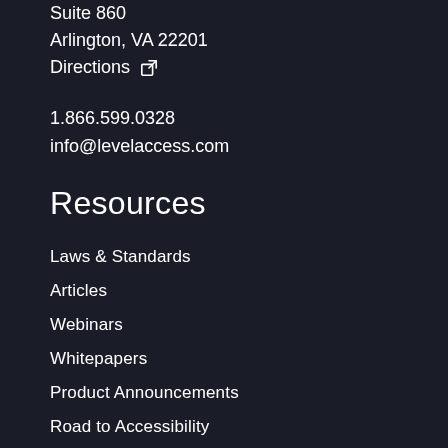Suite 860
Arlington, VA 22201
Directions [external link icon]
1.866.599.0328
info@levelaccess.com
Resources
Laws & Standards
Articles
Webinars
Whitepapers
Product Announcements
Road to Accessibility